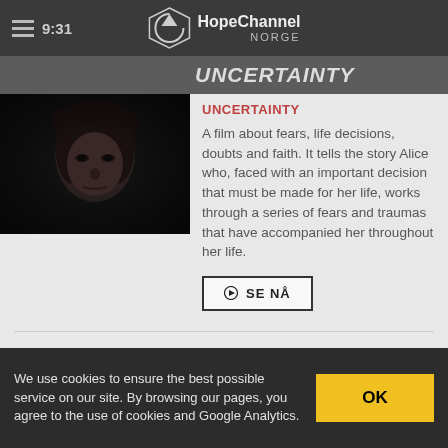9:31  HopeChannel NORGE
UNCERTAINTY
[Figure (photo): Dark moody close-up portrait of a young person with dark hair looking downward, low-key lighting]
UNCERTAINTY
A film about fears, life decisions, doubts and faith. It tells the story Alice who, faced with an important decision that must be made for her life, works through a series of fears and traumas that have accompanied her throughout her life.
SE NÅ
19:15
We use cookies to ensure the best possible service on our site. By browsing our pages, you agree to the use of cookies and Google Analytics.
OK